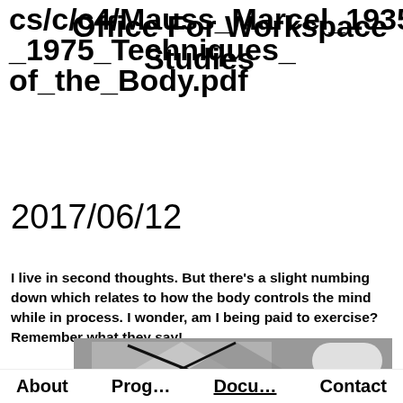cs/c/c4/Mauss_Marcel_1935_1975_Techniques_of_the_Body.pdf Office For Workspace Studies
2017/06/12
I live in second thoughts. But there’s a slight numbing down which relates to how the body controls the mind while in process. I wonder, am I being paid to exercise? Remember what they say!
[Figure (photo): Black and white photograph showing a framed reflective/metallic object, likely a mirror or foil-covered frame, with chopsticks or thin rods crossing in front, on a gray surface.]
About  Prog…  Docu…  Contact